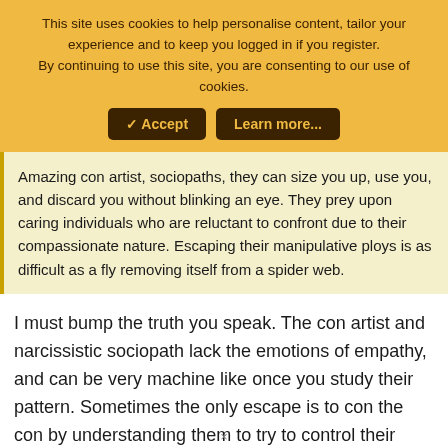This site uses cookies to help personalise content, tailor your experience and to keep you logged in if you register. By continuing to use this site, you are consenting to our use of cookies.
✓ Accept | Learn more...
Amazing con artist, sociopaths, they can size you up, use you, and discard you without blinking an eye. They prey upon caring individuals who are reluctant to confront due to their compassionate nature. Escaping their manipulative ploys is as difficult as a fly removing itself from a spider web.
I must bump the truth you speak. The con artist and narcissistic sociopath lack the emotions of empathy, and can be very machine like once you study their pattern. Sometimes the only escape is to con the con by understanding them to try to control their behavior or protect yourself. Caylee couldn't escape.
×